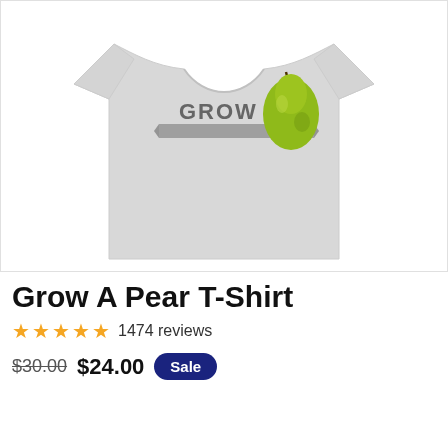[Figure (photo): A light gray heather t-shirt with 'GROW A' text and a green pear graphic printed on the chest area, displayed on a white background.]
Grow A Pear T-Shirt
★★★★★ 1474 reviews
$30.00  $24.00  Sale